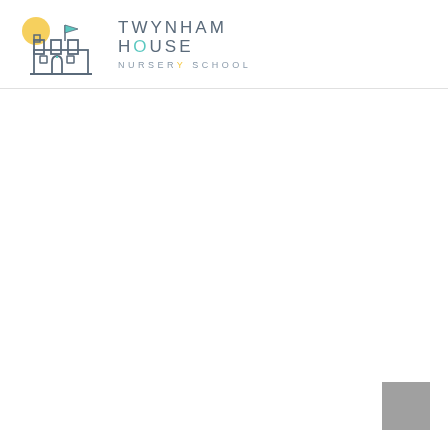[Figure (logo): Twynham House Nursery School logo: a sand castle illustration with a sun and flag, next to the text 'TWYNHAM HOUSE NURSERY SCHOOL']
[Figure (other): Gray square placeholder in bottom-right corner]